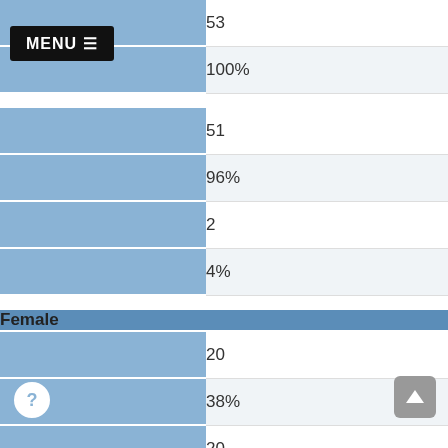| Category | Value |
| --- | --- |
|  | 53 |
|  | 100% |
|  | 51 |
|  | 96% |
|  | 2 |
|  | 4% |
| Female |  |
|  | 20 |
|  | 38% |
|  | 20 |
|  | 100% |
|  | 0 |